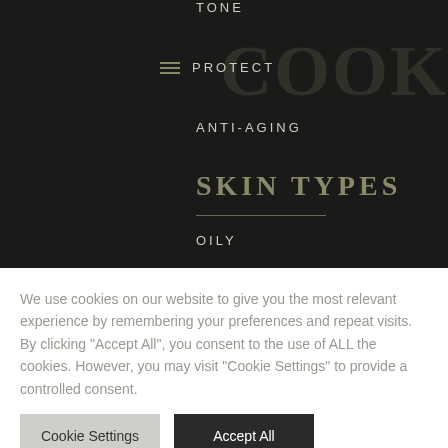TONE
PROTECT
ANTI-AGING
SKIN TYPES
OILY
We use cookies on our website to give you the most relevant experience by remembering your preferences and repeat visits. By clicking "Accept All", you consent to the use of ALL the cookies. However, you may visit "Cookie Settings" to provide a controlled consent.
Cookie Settings  |  Accept All